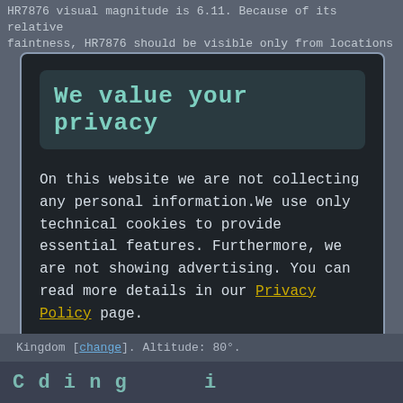HR7876 visual magnitude is 6.11. Because of its relative faintness, HR7876 should be visible only from locations
We value your privacy
On this website we are not collecting any personal information.We use only technical cookies to provide essential features. Furthermore, we are not showing advertising. You can read more details in our Privacy Policy page.
If you proceed we'll assume you agree to receive our cookies. Thank you.
Proceed to TheSkyLive.com
Kingdom [change]. Altitude: 80°.